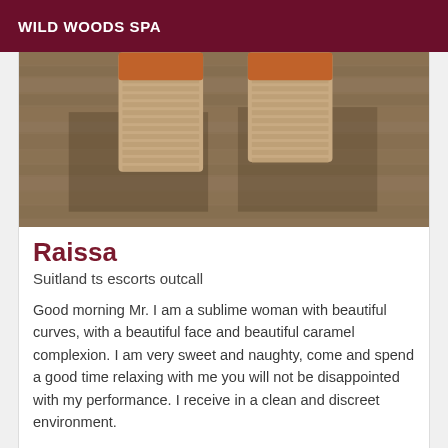WILD WOODS SPA
[Figure (photo): Close-up photo of wedge heeled shoes standing on a wooden floor, viewed from above/behind]
Raissa
Suitland ts escorts outcall
Good morning Mr. I am a sublime woman with beautiful curves, with a beautiful face and beautiful caramel complexion. I am very sweet and naughty, come and spend a good time relaxing with me you will not be disappointed with my performance. I receive in a clean and discreet environment.